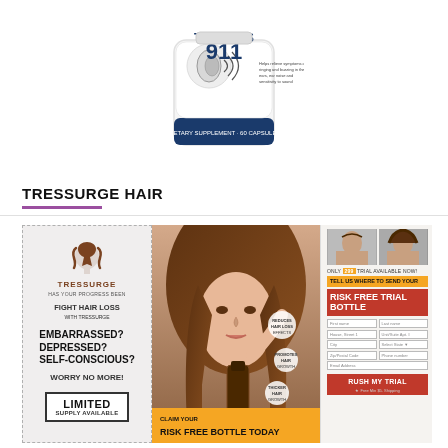[Figure (photo): Tinnitus 911 dietary supplement bottle showing an ear graphic with the product name and '911' prominently displayed]
TRESSURGE HAIR
[Figure (photo): Tressurge hair loss product advertisement banner showing: left panel with brand logo, 'FIGHT HAIR LOSS WITH TRESSURGE', 'EMBARRASSED? DEPRESSED? SELF-CONSCIOUS? WORRY NO MORE!' text and 'LIMITED SUPPLY AVAILABLE' box; center panel with woman holding hair and product bottle with feature callouts; right panel with before/after photos and 'RISK FREE TRIAL BOTTLE' form with 'RUSH MY TRIAL' button. Bottom has 'CLAIM YOUR RISK FREE BOTTLE TODAY' bar.]